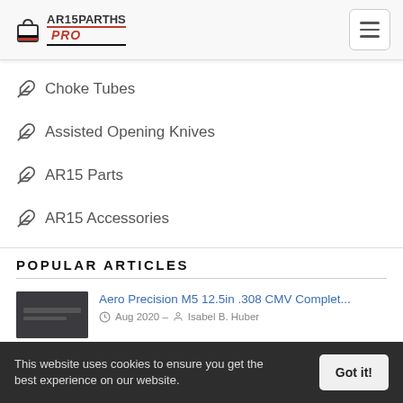AR15PARTHS PRO
Choke Tubes
Assisted Opening Knives
AR15 Parts
AR15 Accessories
POPULAR ARTICLES
Aero Precision M5 12.5in .308 CMV Complet... Aug 2020 – Isabel B. Huber
This website uses cookies to ensure you get the best experience on our website. Got it!